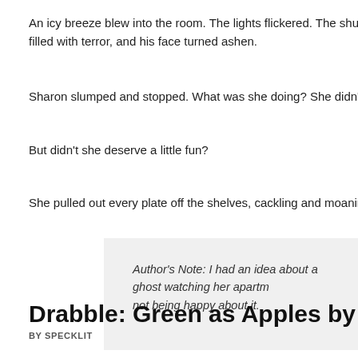An icy breeze blew into the room. The lights flickered. The shutters open… filled with terror, and his face turned ashen.
Sharon slumped and stopped. What was she doing? She didn't want to h…
But didn't she deserve a little fun?
She pulled out every plate off the shelves, cackling and moaning, and ye…
Author's Note: I had an idea about a ghost watching her apartm… not being happy about it.
Categories: Fiction, Sylvia Heike | 2 Comments »
Drabble: Green as Apples by Sylvia Heik…
BY SPECKLIT